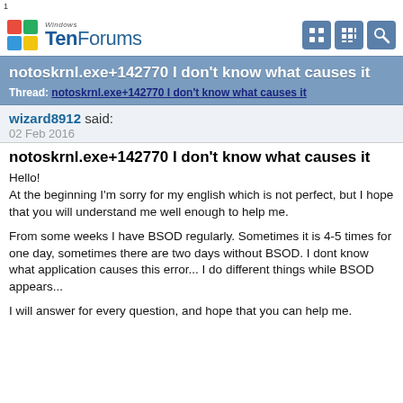1
[Figure (logo): Windows TenForums logo with colorful Windows flag icon and three navigation icon buttons]
notoskrnl.exe+142770 I don't know what causes it
Thread: notoskrnl.exe+142770 I don't know what causes it
wizard8912 said:
02 Feb 2016
notoskrnl.exe+142770 I don't know what causes it
Hello!
At the beginning I'm sorry for my english which is not perfect, but I hope that you will understand me well enough to help me.
From some weeks I have BSOD regularly. Sometimes it is 4-5 times for one day, sometimes there are two days without BSOD. I dont know what application causes this error... I do different things while BSOD appears...
I will answer for every question, and hope that you can help me.